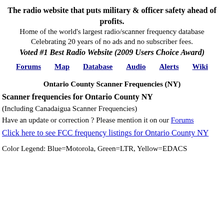The radio website that puts military & officer safety ahead of profits.
Home of the world's largest radio/scanner frequency database
Celebrating 20 years of no ads and no subscriber fees.
Voted #1 Best Radio Website (2009 Users Choice Award)
Forums   Map   Database   Audio   Alerts   Wiki
Ontario County Scanner Frequencies (NY)
Scanner frequencies for Ontario County NY
(Including Canadaigua Scanner Frequencies)
Have an update or correction ? Please mention it on our Forums
Click here to see FCC frequency listings for Ontario County NY
Color Legend: Blue=Motorola, Green=LTR, Yellow=EDACS